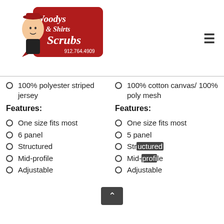[Figure (logo): Woodys Shirts & Scrubs logo with cartoon cowboy character, red background, phone number 912.764.4909]
100% polyester striped jersey
100% cotton canvas/ 100% poly mesh
Features:
Features:
One size fits most
One size fits most
6 panel
5 panel
Structured
Structured
Mid-profile
Mid-profile
Adjustable
Adjustable